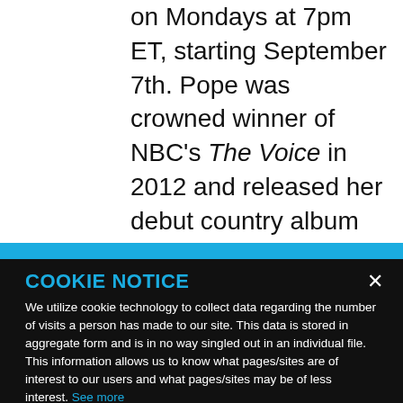on Mondays at 7pm ET, starting September 7th. Pope was crowned winner of NBC's The Voice in 2012 and released her debut country album Frame by Frame in
COOKIE NOTICE
We utilize cookie technology to collect data regarding the number of visits a person has made to our site. This data is stored in aggregate form and is in no way singled out in an individual file. This information allows us to know what pages/sites are of interest to our users and what pages/sites may be of less interest. See more